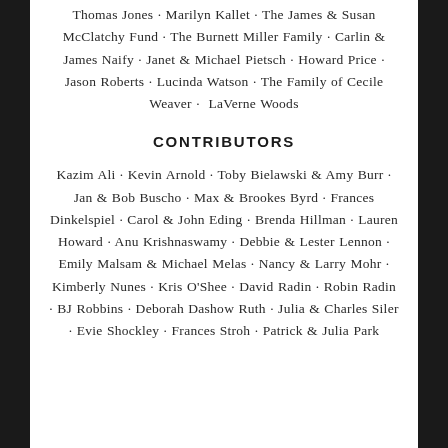Thomas Jones · Marilyn Kallet · The James & Susan McClatchy Fund · The Burnett Miller Family · Carlin & James Naify · Janet & Michael Pietsch · Howard Price · Jason Roberts · Lucinda Watson · The Family of Cecile Weaver · LaVerne Woods
CONTRIBUTORS
Kazim Ali · Kevin Arnold · Toby Bielawski & Amy Burr · Jan & Bob Buscho · Max & Brookes Byrd · Frances Dinkelspiel · Carol & John Eding · Brenda Hillman · Lauren Howard · Anu Krishnaswamy · Debbie & Lester Lennon · Emily Malsam & Michael Melas · Nancy & Larry Mohr · Kimberly Nunes · Kris O'Shee · David Radin · Robin Radin · BJ Robbins · Deborah Dashow Ruth · Julia & Charles Siler · Evie Shockley · Frances Stroh · Patrick & Julia Park